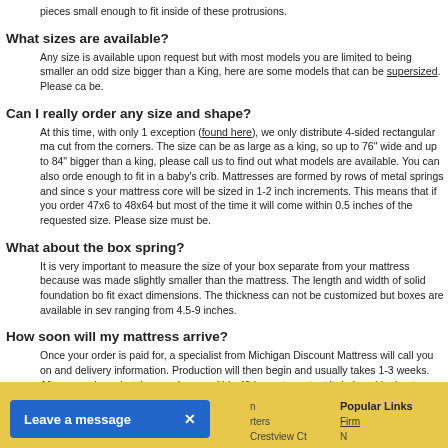pieces small enough to fit inside of these protrusions.
What sizes are available?
Any size is available upon request but with most models you are limited to being smaller an odd size bigger than a King, here are some models that can be supersized. Please ca be.
Can I really order any size and shape?
At this time, with only 1 exception (found here), we only distribute 4-sided rectangular ma cut from the corners. The size can be as large as a king, so up to 76" wide and up to 84" bigger than a king, please call us to find out what models are available. You can also orde enough to fit in a baby's crib. Mattresses are formed by rows of metal springs and since s your mattress core will be sized in 1-2 inch increments. This means that if you order 47x6 to 48x64 but most of the time it will come within 0.5 inches of the requested size. Please size must be.
What about the box spring?
It is very important to measure the size of your box separate from your mattress because was made slightly smaller than the mattress. The length and width of solid foundation bo fit exact dimensions. The thickness can not be customized but boxes are available in sev ranging from 4.5-9 inches.
How soon will my mattress arrive?
Once your order is paid for, a specialist from Michigan Discount Mattress will call you on and delivery information. Production will then begin and usually takes 1-3 weeks. After pr packaged at the warehouse within 48 hours to protect it during shipping to your home. Sh depending on the destination city. The combination of producing, packing and delivering your mattress within 3-7 weeks of the day you order. Our streamlined process has succe orders within 4 weeks. If you need a more accurate estimate, or have a quicker deadline, expediting options.
Leave a message  ×  Popular Links  Firm  Crestview Ct